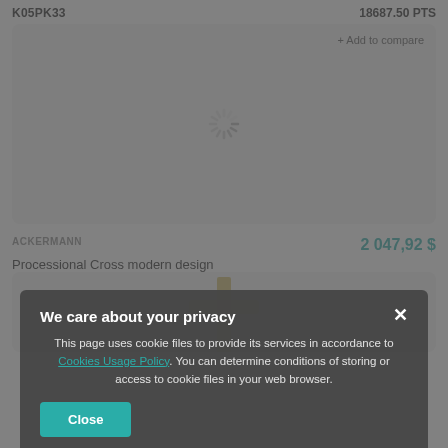K05PK33
18687.50 PTS
[Figure (screenshot): Product card with gray background and loading spinner icon in center, with '+ Add to compare' link in top right]
ACKERMANN
2 047,92 $
Processional Cross modern design
We care about your privacy
This page uses cookie files to provide its services in accordance to Cookies Usage Policy. You can determine conditions of storing or access to cookie files in your web browser.
Close